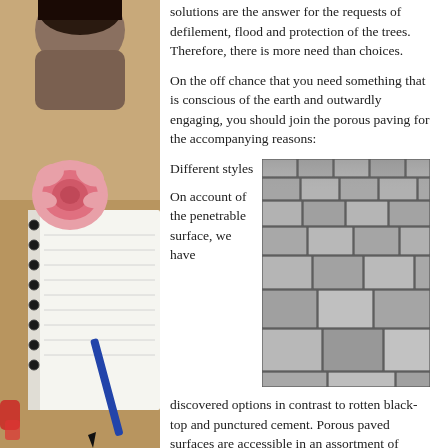[Figure (photo): Left side strip photo showing a notebook with a pink rose, a pen, and a person partially visible from shoulders up against a warm background.]
solutions are the answer for the requests of defilement, flood and protection of the trees. Therefore, there is more need than choices.
On the off chance that you need something that is conscious of the earth and outwardly engaging, you should join the porous paving for the accompanying reasons:
Different styles
[Figure (photo): Black and white photograph of a porous paving surface made of square stone blocks arranged in a pattern, viewed at an angle.]
On account of the penetrable surface, we have discovered options in contrast to rotten black-top and punctured cement. Porous paved surfaces are accessible in an assortment of styles extending from solid rock and cement to